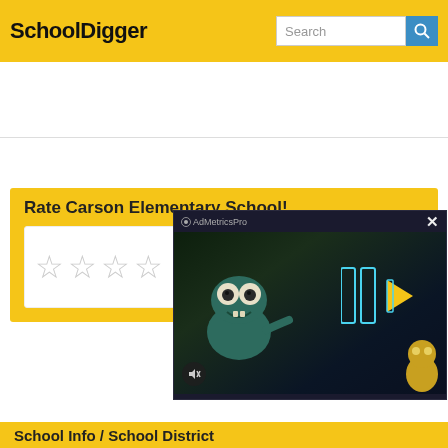SchoolDigger
Rate Carson Elementary School!
[Figure (screenshot): AdMetricsPro video ad overlay showing animated monster character with play button, displayed over the rate school section]
School Info / School District